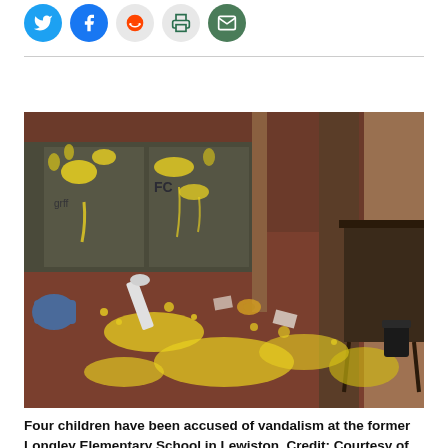[Figure (other): Social media share icons: Twitter (blue circle), Facebook (blue circle), Reddit (grey circle), Print (grey circle), Email (green circle)]
[Figure (photo): Interior of a vandalized school building. Yellow paint splattered across floors, walls, and windows. Graffiti marks on windows and walls. A fallen white object on the paint-covered dark red floor. A table visible on the right side. Blue container on the left.]
Four children have been accused of vandalism at the former Longley Elementary School in Lewiston. Credit: Courtesy of Janet Beaudoin / CBS 13